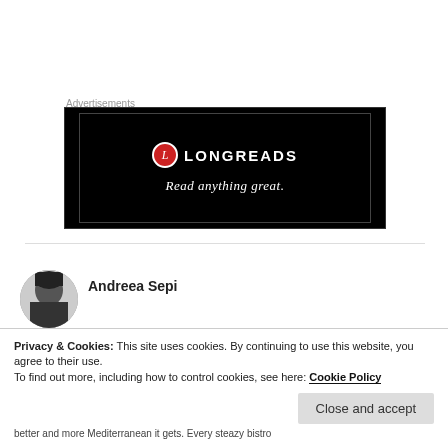Advertisements
[Figure (screenshot): Longreads advertisement banner with black background, red circle L logo, 'LONGREADS' text in white, and tagline 'Read anything great']
Andreea Sepi
Privacy & Cookies: This site uses cookies. By continuing to use this website, you agree to their use.
To find out more, including how to control cookies, see here: Cookie Policy
Close and accept
better and more Mediterranean it gets. Every steazy bistro